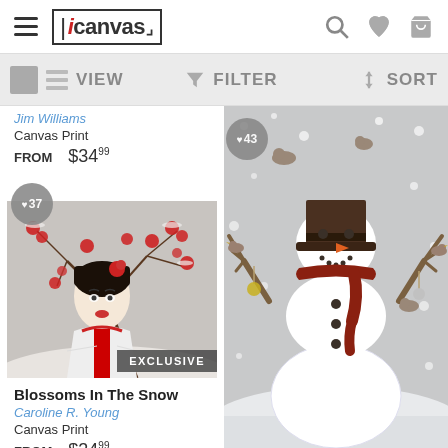iCanvas header with hamburger menu, logo, search, wishlist, and cart icons
VIEW | FILTER | SORT toolbar
Jim Williams
Canvas Print
FROM $34.99
[Figure (photo): Geisha portrait with red blossoms in snow, labeled EXCLUSIVE]
[Figure (photo): Snowman with top hat, scarf, and branch arms in winter snow scene. Heart badge showing 43 likes.]
Blossoms In The Snow
Caroline R. Young
Canvas Print
FROM $34.99